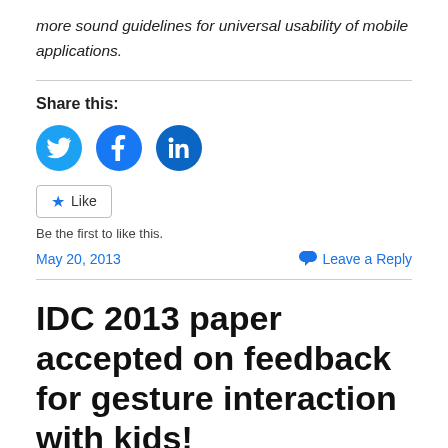more sound guidelines for universal usability of mobile applications.
Share this:
[Figure (illustration): Three circular social media share buttons: Twitter (blue bird), Facebook (blue f), LinkedIn (blue in)]
[Figure (illustration): Like button with star icon, followed by text 'Be the first to like this.']
May 20, 2013
Leave a Reply
IDC 2013 paper accepted on feedback for gesture interaction with kids!